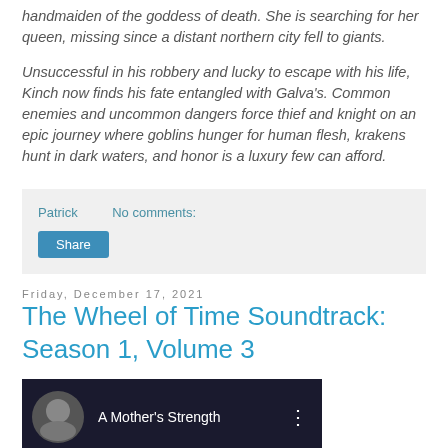handmaiden of the goddess of death. She is searching for her queen, missing since a distant northern city fell to giants.
Unsuccessful in his robbery and lucky to escape with his life, Kinch now finds his fate entangled with Galva's. Common enemies and uncommon dangers force thief and knight on an epic journey where goblins hunger for human flesh, krakens hunt in dark waters, and honor is a luxury few can afford.
Patrick   No comments:
Share
Friday, December 17, 2021
The Wheel of Time Soundtrack: Season 1, Volume 3
[Figure (screenshot): Thumbnail image of a YouTube video showing 'A Mother's Strength' with a dark background and a person's face on the left side.]